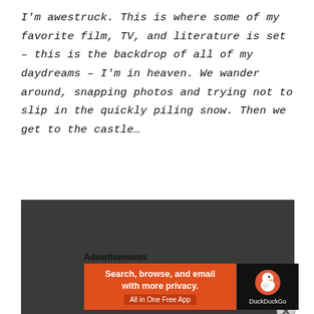I'm awestruck. This is where some of my favorite film, TV, and literature is set – this is the backdrop of all of my daydreams – I'm in heaven. We wander around, snapping photos and trying not to slip in the quickly piling snow. Then we get to the castle…
[Figure (photo): A large dark/black rectangular image placeholder, likely a photo of a castle or snowy scene.]
Advertisements
[Figure (screenshot): DuckDuckGo advertisement banner. Left side orange background with text 'Search, browse, and email with more privacy. All in One Free App'. Right side black background with DuckDuckGo logo and name.]